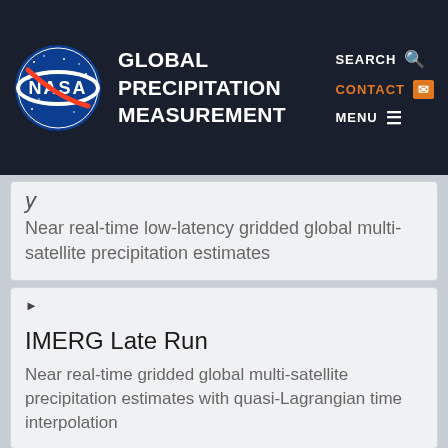NASA Global Precipitation Measurement
Near real-time low-latency gridded global multi-satellite precipitation estimates
IMERG Late Run
Near real-time gridded global multi-satellite precipitation estimates with quasi-Lagrangian time interpolation